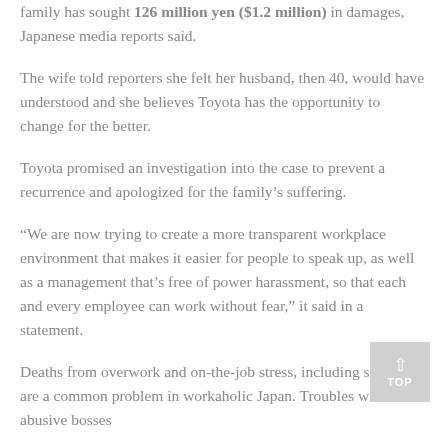family has sought 126 million yen ($1.2 million) in damages, Japanese media reports said.
The wife told reporters she felt her husband, then 40, would have understood and she believes Toyota has the opportunity to change for the better.
Toyota promised an investigation into the case to prevent a recurrence and apologized for the family’s suffering.
“We are now trying to create a more transparent workplace environment that makes it easier for people to speak up, as well as a management that’s free of power harassment, so that each and every employee can work without fear,” it said in a statement.
Deaths from overwork and on-the-job stress, including suicides, are a common problem in workaholic Japan. Troubles with abusive bosses